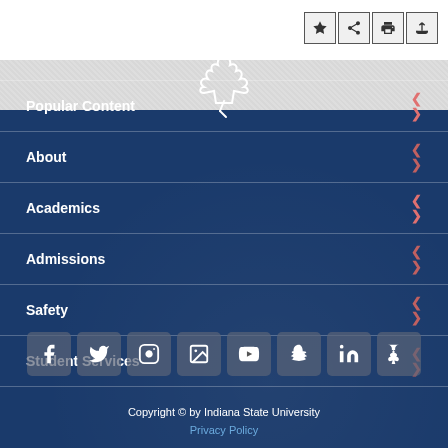[Figure (screenshot): Top toolbar with bookmark, share, print, and upload icon buttons]
[Figure (logo): Indiana State University maple leaf logo icon in navy blue]
Popular Content
About
Academics
Admissions
Safety
Student Services
[Figure (infographic): Social media icons row: Facebook, Twitter, Instagram, Flickr/Gallery, YouTube, Snapchat, LinkedIn, ISU app icon]
Copyright © by Indiana State University
Privacy Policy